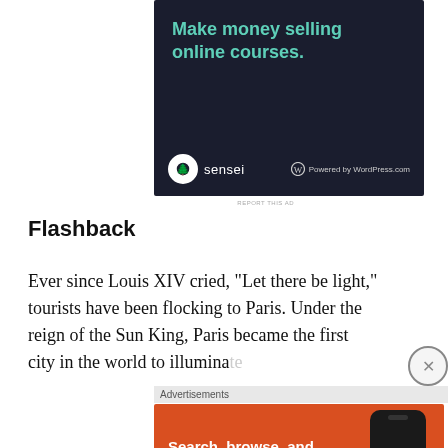[Figure (illustration): Dark-background advertisement for Sensei/WordPress.com with headline 'Make money selling online courses.' and logos at bottom.]
Flashback
Ever since Louis XIV cried, “Let there be light,” tourists have been flocking to Paris. Under the reign of the Sun King, Paris became the first city in the world to illuminate
[Figure (illustration): Orange DuckDuckGo advertisement with text 'Search, browse, and email with more privacy. All in One Free App' and phone graphic with DuckDuckGo logo.]